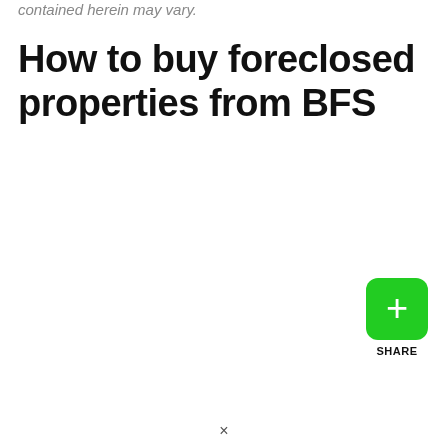contained herein may vary.
How to buy foreclosed properties from BFS
[Figure (other): Green share button with plus icon and SHARE label]
×